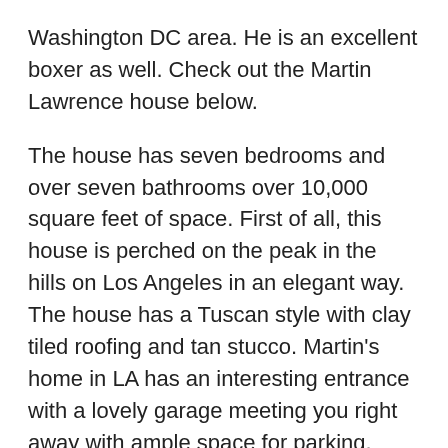Washington DC area. He is an excellent boxer as well. Check out the Martin Lawrence house below.
The house has seven bedrooms and over seven bathrooms over 10,000 square feet of space. First of all, this house is perched on the peak in the hills on Los Angeles in an elegant way. The house has a Tuscan style with clay tiled roofing and tan stucco. Martin's home in LA has an interesting entrance with a lovely garage meeting you right away with ample space for parking. Additionally, there is a stair-case that has a nice balcony that looks onto the relaxed entranceway. The views are spectacular from this area for sure!
The area of Encino that Martin Lawrence lives in is located very close to downtown but far enough from